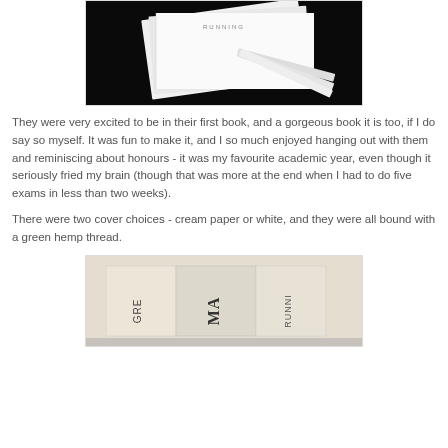[Figure (photo): Photo of books with white/cream covers fanned out against a black background, text 'RUNNING' visible on cover]
They were very excited to be in their first book, and a gorgeous book it is too, if I do say so myself. It was fun to make it, and I so much enjoyed hanging out with them and reminiscing about honours - it was my favourite academic year, even though it seriously fried my brain (though that was more at the end when I had to do five exams in less than two weeks).
There were two cover choices - cream paper or white, and they were all bound with a green hemp thread.
[Figure (photo): Photo of book spines showing partial text 'GRE', 'MA', 'RUNNI' on cream/beige colored covers]